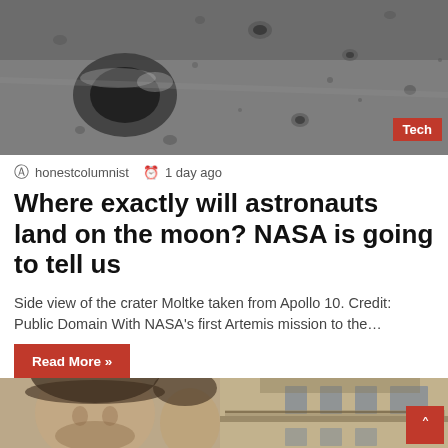[Figure (photo): Black and white aerial/side view photograph of the lunar surface showing crater Moltke taken from Apollo 10]
honestcolumnist  1 day ago
Where exactly will astronauts land on the moon? NASA is going to tell us
Side view of the crater Moltke taken from Apollo 10. Credit: Public Domain With NASA's first Artemis mission to the…
Read More »
[Figure (photo): Vintage color photograph showing two men in caps standing in front of a building with a balcony]